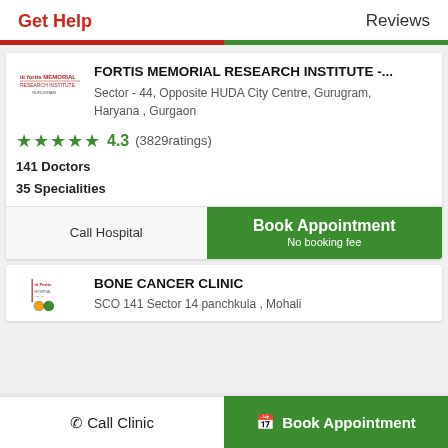Get Help | Reviews
FORTIS MEMORIAL RESEARCH INSTITUTE -...
Sector - 44, Opposite HUDA City Centre, Gurugram, Haryana , Gurgaon
★★★★★ 4.3 (3829ratings)
141 Doctors
35 Specialities
Call Hospital | Book Appointment No booking fee
BONE CANCER CLINIC
SCO 141 Sector 14 panchkula , Mohali
Call Clinic | Book Appointment